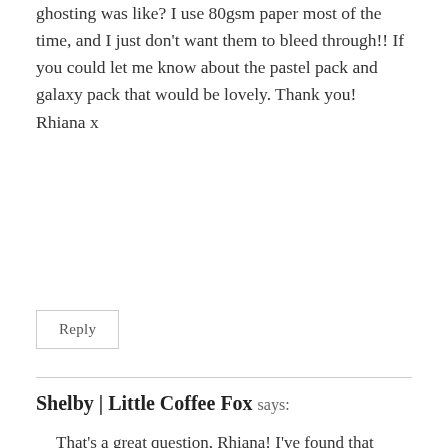ghosting was like? I use 80gsm paper most of the time, and I just don't want them to bleed through!! If you could let me know about the pastel pack and galaxy pack that would be lovely. Thank you!
Rhiana x
Reply
Shelby | Little Coffee Fox says:
That's a great question, Rhiana! I've found that Tombow does ghost a bit, but it doesn't bleed at all. So you can see it a little from the other side of the paper, but it won't ruin the paper or stain the other side. As for packs, not all the same reported…